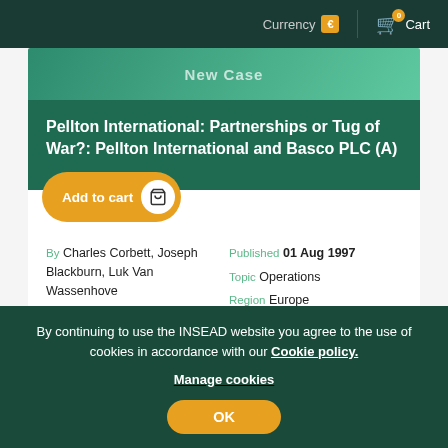Currency € | 0 Cart
Pellton International: Partnerships or Tug of War?: Pellton International and Basco PLC (A)
By Charles Corbett, Joseph Blackburn, Luk Van Wassenhove
Reference 4713
Published 01 Aug 1997
Topic Operations
Region Europe
Industry Automotive, Chemicals
The package consists of 3 cases and a teaching note. As part
By continuing to use the INSEAD website you agree to the use of cookies in accordance with our Cookie policy.
Manage cookies
OK